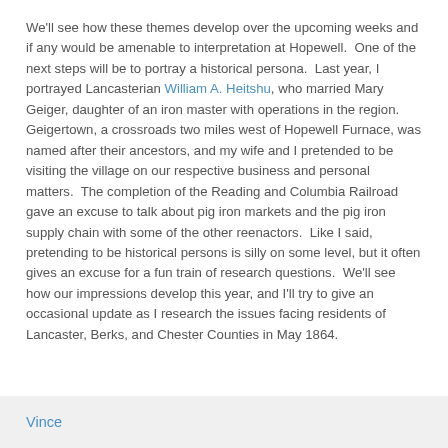We'll see how these themes develop over the upcoming weeks and if any would be amenable to interpretation at Hopewell.  One of the next steps will be to portray a historical persona.  Last year, I portrayed Lancasterian William A. Heitshu, who married Mary Geiger, daughter of an iron master with operations in the region.  Geigertown, a crossroads two miles west of Hopewell Furnace, was named after their ancestors, and my wife and I pretended to be visiting the village on our respective business and personal matters.  The completion of the Reading and Columbia Railroad gave an excuse to talk about pig iron markets and the pig iron supply chain with some of the other reenactors.  Like I said, pretending to be historical persons is silly on some level, but it often gives an excuse for a fun train of research questions.  We'll see how our impressions develop this year, and I'll try to give an occasional update as I research the issues facing residents of Lancaster, Berks, and Chester Counties in May 1864.
Vince